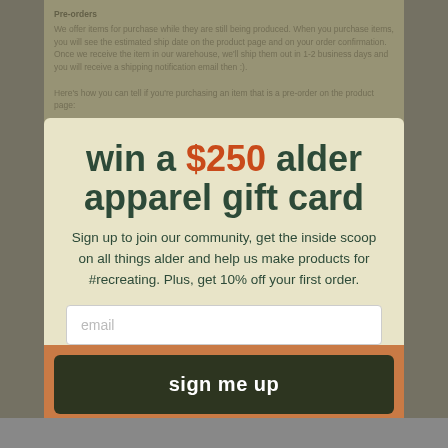[Figure (screenshot): Email signup modal popup overlay on an e-commerce website. Background shows a document page with 'Pre-orders' section text faded behind. Modal contains headline 'win a $250 alder apparel gift card', body text about signing up, an email input field, and a dark 'sign me up' button on an orange background bar.]
win a $250 alder apparel gift card
Sign up to join our community, get the inside scoop on all things alder and help us make products for #recreating. Plus, get 10% off your first order.
email
sign me up